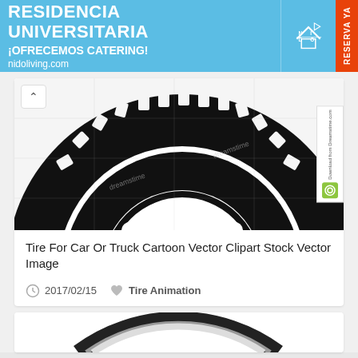[Figure (infographic): Blue advertisement banner for Residencia Universitaria / Nido Living with text RESIDENCIA UNIVERSITARIA ¡OFRECEMOS CATERING! nidoliving.com and orange RESERVA YA strip on right]
[Figure (illustration): Black and white cartoon tire/wheel clipart from Dreamstime stock image site showing top portion of a large treaded tire with visible rim, spokes and oval cutouts; watermark text visible]
Tire For Car Or Truck Cartoon Vector Clipart Stock Vector Image
2017/02/15
Tire Animation
[Figure (illustration): Partial view of a realistic bicycle wheel with gray rim and spokes, showing top arc portion]